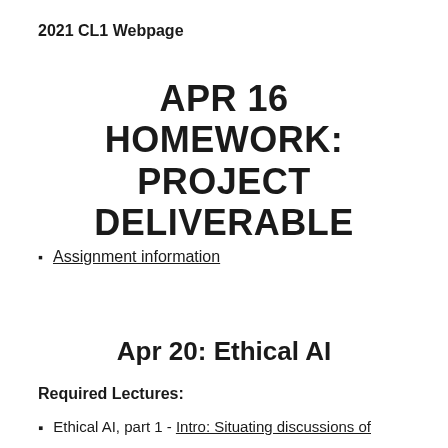2021 CL1 Webpage
APR 16 HOMEWORK: PROJECT DELIVERABLE
Assignment information
Apr 20: Ethical AI
Required Lectures:
Ethical AI, part 1 - Intro: Situating discussions of